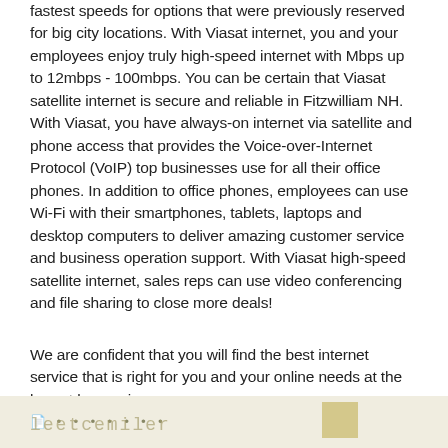fastest speeds for options that were previously reserved for big city locations. With Viasat internet, you and your employees enjoy truly high-speed internet with Mbps up to 12mbps - 100mbps. You can be certain that Viasat satellite internet is secure and reliable in Fitzwilliam NH. With Viasat, you have always-on internet via satellite and phone access that provides the Voice-over-Internet Protocol (VoIP) top businesses use for all their office phones. In addition to office phones, employees can use Wi-Fi with their smartphones, tablets, laptops and desktop computers to deliver amazing customer service and business operation support. With Viasat high-speed satellite internet, sales reps can use video conferencing and file sharing to close more deals!
We are confident that you will find the best internet service that is right for you and your online needs at the lowest base price.
[Figure (other): Partial image strip at bottom of page showing faint stylized text and a small colored square/thumbnail]